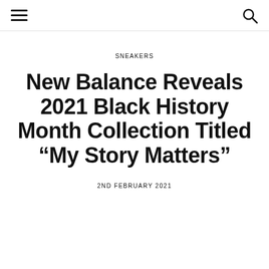☰  🔍
SNEAKERS
New Balance Reveals 2021 Black History Month Collection Titled “My Story Matters”
2ND FEBRUARY 2021